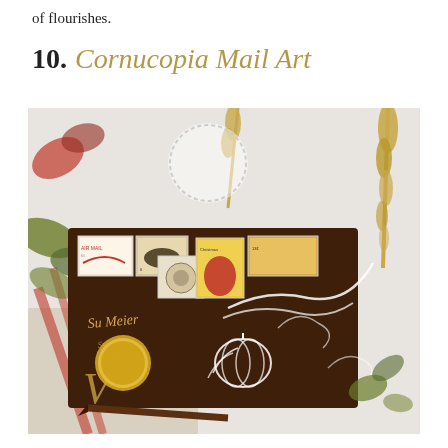of flourishes.
10. Cornucopia Mail Art
[Figure (photo): A decorative dark brown envelope addressed in calligraphy, adorned with vintage postage stamps (Air Mail, bison, Christmas, and other stamps) and an intricate white chalk-drawn cornucopia with wheat, pumpkin, and floral flourishes. A round gold wax seal, a calligraphy pen, dried wheat stalks, autumn leaves, and a floral cloth are arranged around the envelope on a white marble surface.]